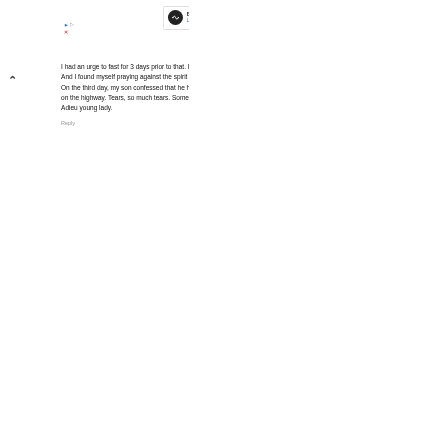[Figure (other): Advertisement banner: Back To School Shopping Deals - Leesburg Premium Outlets, with logo and arrow icon]
I had an urge to fast for 3 days prior to that. I initially resisted it due to my schedules but when the urge became so strong and did. And I found myself praying against the spirit of death.
On the third day, my son confessed that he had planned to walk into a stream of fast moving vehicles
on the highway. Tears, so much tears. Some other time, I will write this story in full.
Adieu young lady.
Reply
▾ Replies
Jules 31 January 2022 at 14:35
[Figure (other): Advertisement banner: Shop Back To School Deals - Leesburg Premium Outlets, with logo and arrow icon]